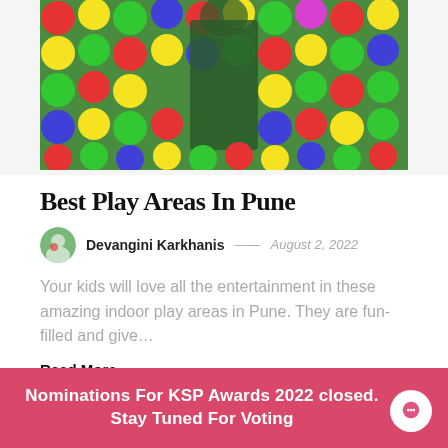[Figure (photo): Colorful ball pit with red, yellow, green, and blue balls; person in dark clothes visible in center]
Best Play Areas In Pune
Devangini Karkhanis — August 2, 2022
Your kids will love all the entertainment in these amazing indoor play areas in Pune. They are fun-filled and give…
Read More
[Figure (photo): Partial view of a music sheet / manuscript with handwritten or printed musical notation on aged paper]
Nominations For KSP Awards 2022 closed. Stay Tuned For Voting